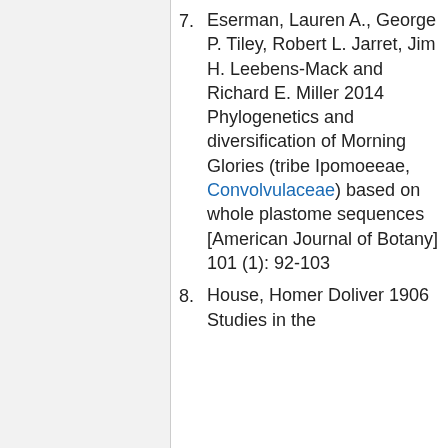7. Eserman, Lauren A., George P. Tiley, Robert L. Jarret, Jim H. Leebens-Mack and Richard E. Miller 2014 Phylogenetics and diversification of Morning Glories (tribe Ipomoeeae, Convolvulaceae) based on whole plastome sequences [American Journal of Botany] 101 (1): 92-103
8. House, Homer Doliver 1906 Studies in the...